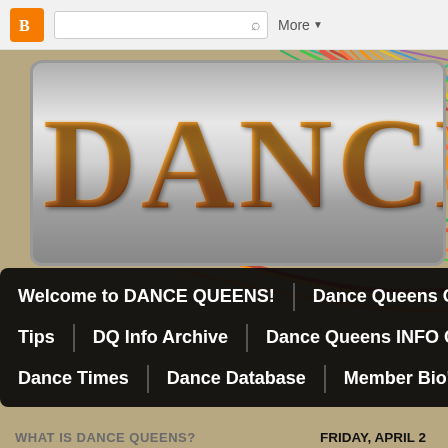Blogger navigation bar with search and More button
[Figure (screenshot): Website header banner with large orange DANCE text on metallic silver background, with colorful light streaks in the background]
Welcome to DANCE QUEENS! | Dance Queens Cal... | Tips | DQ Info Archive | Dance Queens INFO Cen... | Dance Times | Dance Database | Member Bio's
WHAT IS DANCE QUEENS?
Dance Queens is a volunteer co-
FRIDAY, APRIL 2...